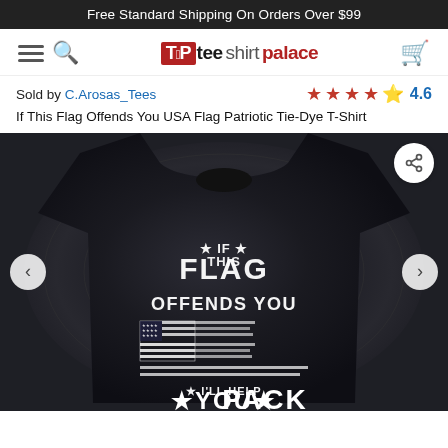Free Standard Shipping On Orders Over $99
[Figure (logo): Tee Shirt Palace navigation bar with hamburger menu, search icon, logo, and cart icon]
Sold by C.Arosas_Tees  ★★★★½  4.6
If This Flag Offends You USA Flag Patriotic Tie-Dye T-Shirt
[Figure (photo): Black tie-dye t-shirt with white distressed text reading IF THIS FLAG OFFENDS YOU with an American flag graphic and I'LL HELP YOU PACK below it]